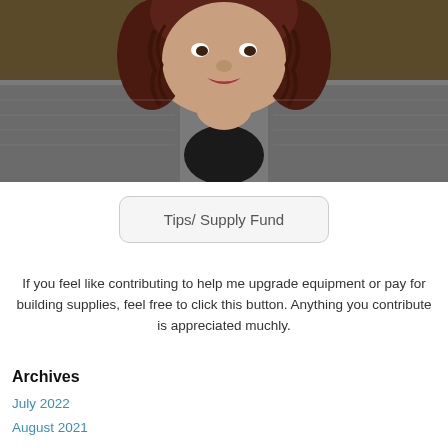[Figure (photo): Portrait photo of a woman with curly dark red hair, wearing a gray/black patterned knit cardigan, seated against a dark background.]
Tips/ Supply Fund
If you feel like contributing to help me upgrade equipment or pay for building supplies, feel free to click this button. Anything you contribute is appreciated muchly.
Archives
July 2022
August 2021